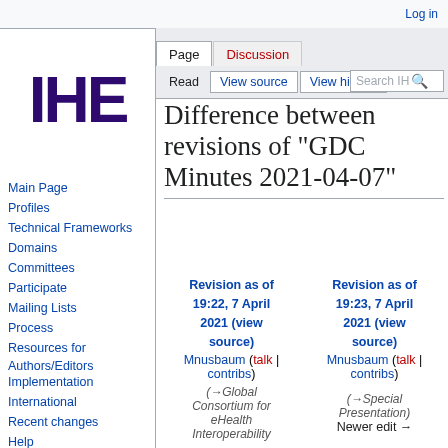Log in
[Figure (logo): IHE logo in dark purple bold text]
Main Page
Profiles
Technical Frameworks
Domains
Committees
Participate
Mailing Lists
Process
Resources for Authors/Editors
Implementation
International
Recent changes
Help
Difference between revisions of "GDC Minutes 2021-04-07"
| Revision as of 19:22, 7 April 2021 (view source) | Revision as of 19:23, 7 April 2021 (view source) |
| --- | --- |
| Mnusbaum (talk | contribs) | Mnusbaum (talk | contribs) |
| (→Global Consortium for eHealth Interoperability | (→Special Presentation) |
|  | Newer edit → |